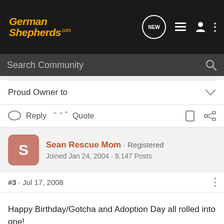GermanShepherds.com
Search Community
Proud Owner to
Reply  Quote
Sean Rescue Mom · Registered
Joined Jan 24, 2004 · 9,147 Posts
#3 · Jul 17, 2008
Happy Birthday/Gotcha and Adoption Day all rolled into one!